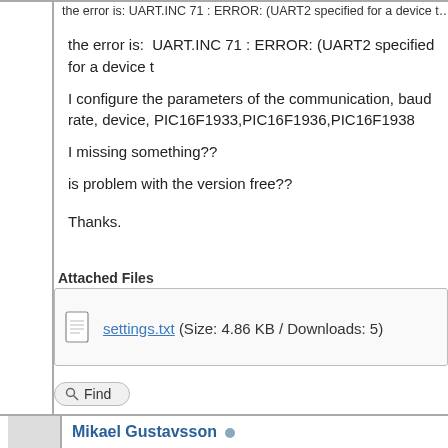the error is:  UART.INC 71 : ERROR: (UART2 specified for a device t
I configure the parameters of the communication, baud rate, device, PIC16F1933,PIC16F1936,PIC16F1938
I missing something??
is problem with the version free??
Thanks.
Attached Files
settings.txt (Size: 4.86 KB / Downloads: 5)
Find
Mikael Gustavsson